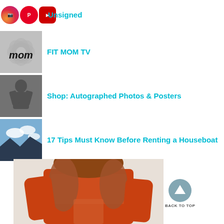Unsigned
FIT MOM TV
Shop: Autographed Photos & Posters
17 Tips Must Know Before Renting a Houseboat
[Figure (photo): Woman in red fitness outfit, back view with long wavy hair]
BACK TO TOP